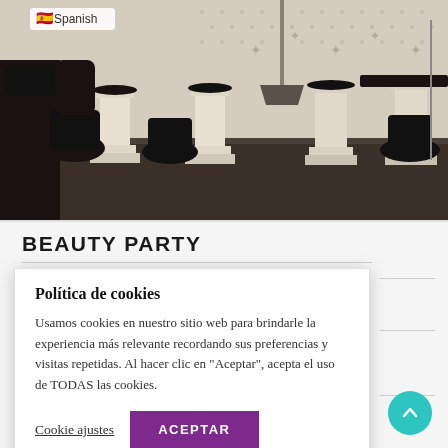[Figure (photo): Interior of a luxury beauty/nail salon with white Roman column pedestals as nail tables, ornate black velvet chairs, black glass surfaces, decorative wallpaper with gold pattern, dark wood floor. Spanish flag badge with text 'Spanish' visible in top left.]
BEAUTY PARTY
Política de cookies
Usamos cookies en nuestro sitio web para brindarle la experiencia más relevante recordando sus preferencias y visitas repetidas. Al hacer clic en "Aceptar", acepta el uso de TODAS las cookies.
Cookie ajustes   ACEPTAR